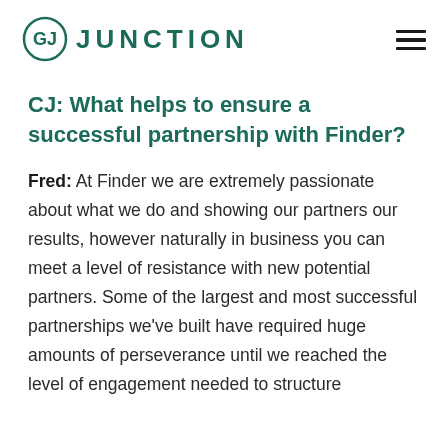GJ JUNCTION
CJ: What helps to ensure a successful partnership with Finder?
Fred: At Finder we are extremely passionate about what we do and showing our partners our results, however naturally in business you can meet a level of resistance with new potential partners. Some of the largest and most successful partnerships we've built have required huge amounts of perseverance until we reached the level of engagement needed to structure